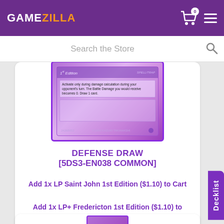GAMEZILLA
Search the Store
[Figure (photo): Yu-Gi-Oh! Defense Draw trading card image showing 1st Edition card with purple/pink artwork and effect text]
DEFENSE DRAW [5DS3-EN038 COMMON]
Add 1x LP Saint John 1st Edition ($1.10) to Cart
Add 1x LP+ Fredericton 1st Edition ($1.10) to Cart